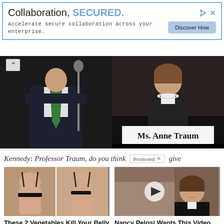[Figure (screenshot): Ad banner: 'Collaboration, SECURED.' with blue border, subtitle 'Accelerate secure collaboration across your enterprise.' and a 'Discover How' button. Ad icons top right.]
[Figure (photo): Two side-by-side images: left shows a man in suit with green tie at a hearing with microphone; right shows a woman with pearls at a hearing with a nameplate reading 'Ms. Anne Traum']
Kennedy: Professor Traum, do you think [Promoted ×] give
[Figure (photo): Before/after weight loss photo of a woman in black bikini showing back]
These 2 Vegetables Kill Your Belly And Arm Fat Overnight
🔥 162,095
[Figure (photo): Video thumbnail of woman smiling outdoors with play button overlay]
Nancy Pelosi Wants This Video Destroyed — Watch Now Before It's Banned
🔥 578,378